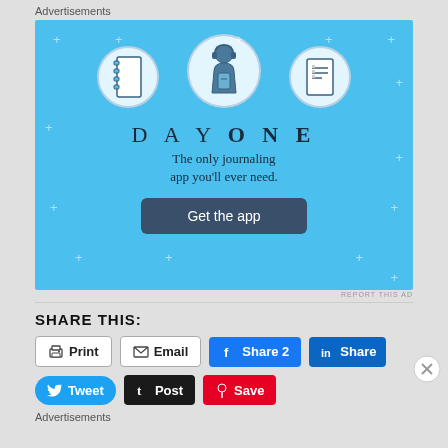Advertisements
[Figure (illustration): Day One journaling app advertisement. Light blue background with sparkle dots. Three circular icons at top: notebook, person holding phone, and list document. Text reads DAY ONE - The only journaling app you'll ever need. Blue 'Get the app' button.]
REPORT THIS AD
SHARE THIS:
Print
Email
Share 2
Share
Tweet
Post
Save
Advertisements